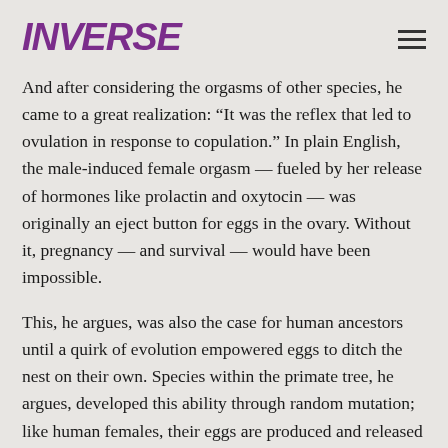INVERSE
And after considering the orgasms of other species, he came to a great realization: “It was the reflex that led to ovulation in response to copulation.” In plain English, the male-induced female orgasm — fueled by her release of hormones like prolactin and oxytocin — was originally an eject button for eggs in the ovary. Without it, pregnancy — and survival — would have been impossible.
This, he argues, was also the case for human ancestors until a quirk of evolution empowered eggs to ditch the nest on their own. Species within the primate tree, he argues, developed this ability through random mutation; like human females, their eggs are produced and released whether or not they’re lucky enough to climax during sex, meaning their fertility is...